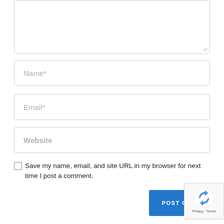[Figure (screenshot): Textarea input box (comment field), partially shown at top]
Name*
Email*
Website
Save my name, email, and site URL in my browser for next time I post a comment.
POST COM
[Figure (logo): reCAPTCHA badge with logo and Privacy - Terms text]